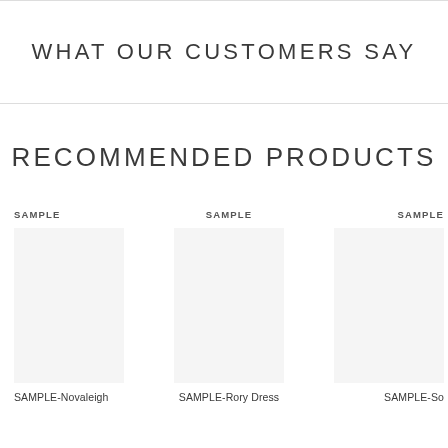WHAT OUR CUSTOMERS SAY
RECOMMENDED PRODUCTS
SAMPLE
SAMPLE
SAMPLE
SAMPLE-Novaleigh
SAMPLE-Rory Dress
SAMPLE-So